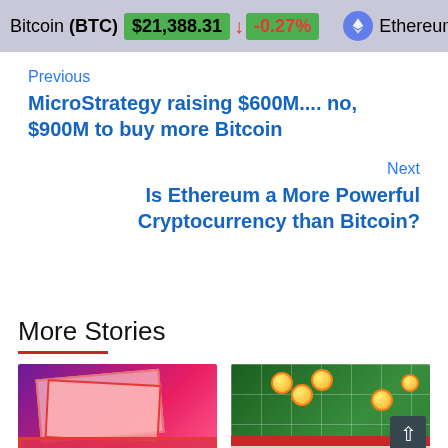Bitcoin (BTC) $21,388.31 ↓ -0.27% | Ethereum (ETH) $1,6...
Previous
MicroStrategy raising $600M.... no, $900M to buy more Bitcoin
Next
Is Ethereum a More Powerful Cryptocurrency than Bitcoin?
More Stories
[Figure (photo): A warning sign graphic with pink/red paper documents and a red WARNING! label over a purple gradient background]
[Figure (photo): A gambling board game with gold coins on a green and red checkered grid; an English language selector overlay at the bottom]